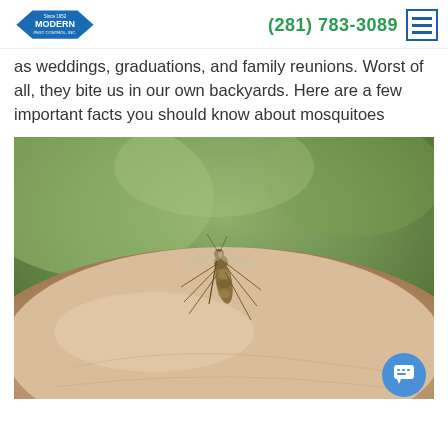Modern Pest Control Inc. | (281) 783-3089
as weddings, graduations, and family reunions. Worst of all, they bite us in our own backyards. Here are a few important facts you should know about mosquitoes
[Figure (photo): Close-up photo of a mosquito biting human skin, with a blurred green background.]